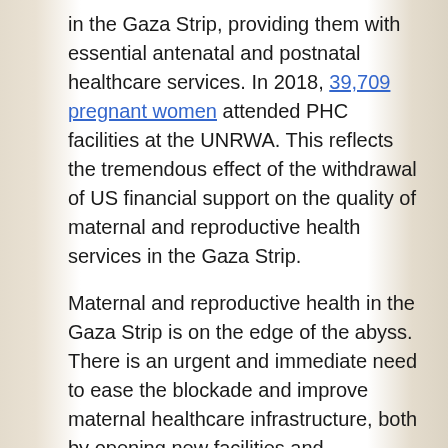in the Gaza Strip, providing them with essential antenatal and postnatal healthcare services. In 2018, 39,709 pregnant women attended PHC facilities at the UNRWA. This reflects the tremendous effect of the withdrawal of US financial support on the quality of maternal and reproductive health services in the Gaza Strip.

Maternal and reproductive health in the Gaza Strip is on the edge of the abyss. There is an urgent and immediate need to ease the blockade and improve maternal healthcare infrastructure, both by opening new facilities and increasing medical staff's capacity. A holistic emergency plan, which prioritises womens' needs and rights, is indispensable and should be adopted. Every woman has the right to receive full and high-quality maternal and reproductive health